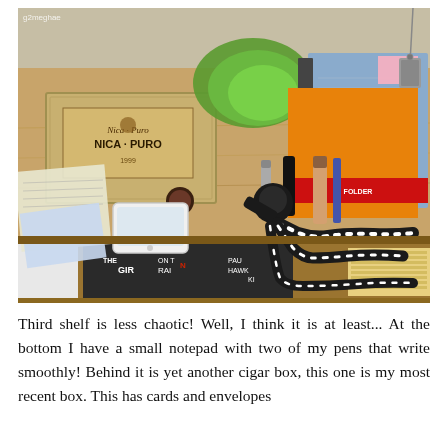[Figure (photo): A wooden bookshelf surface with various items: a NICA-PURO cigar box, a green cloth/bandana, spiral notebooks and binders (one red, one blue/gray), an iPad or tablet, a smartphone (white), cosmetic items (makeup compact, mascara, foundation), pens, a flexible tripod (gorilla pod), a dog tag necklace, some cards/notes, and books on the lower shelf including 'The Girl on the Train' and a Paul Hawken book.]
Third shelf is less chaotic! Well, I think it is at least... At the bottom I have a small notepad with two of my pens that write smoothly! Behind it is yet another cigar box, this one is my most recent box. This has cards and envelopes